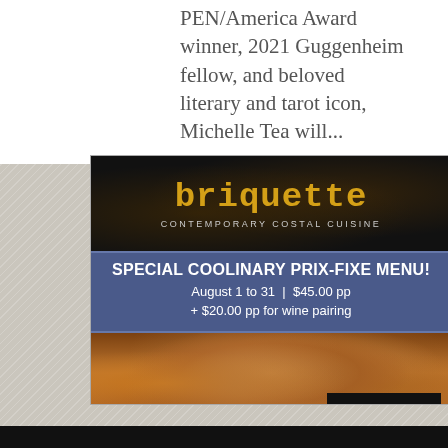PEN/America Award winner, 2021 Guggenheim fellow, and beloved literary and tarot icon, Michelle Tea will...
[Figure (other): Advertisement for Briquette restaurant featuring dark background with flame effects, yellow brand name 'briquette', tagline 'CONTEMPORARY COSTAL CUISINE', blue banner with 'SPECIAL COOLINARY PRIX-FIXE MENU! August 1 to 31 | $45.00 pp + $20.00 pp for wine pairing', photo of seafood/food dish, and 'SEE MENU >' button.]